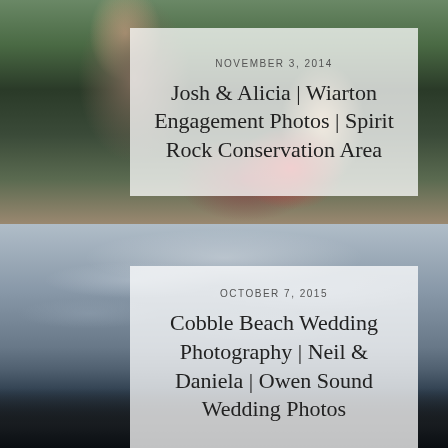[Figure (photo): Outdoor engagement photo of a couple (Josh and Alicia) sitting on rocks in a natural setting with greenery in the background. The man wears a cap and the woman has long hair and a plaid shirt.]
NOVEMBER 3, 2014
Josh & Alicia | Wiarton Engagement Photos | Spirit Rock Conservation Area
[Figure (photo): Wedding photography scene at Cobble Beach showing a dramatic cloudy sky over a harbor or beach area. A dark building silhouette is visible in the lower left corner. The sky has textured clouds with light breaking through.]
OCTOBER 7, 2015
Cobble Beach Wedding Photography | Neil & Daniela | Owen Sound Wedding Photos